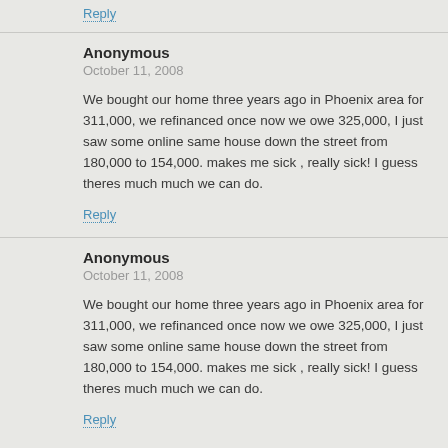Reply
Anonymous
October 11, 2008
We bought our home three years ago in Phoenix area for 311,000, we refinanced once now we owe 325,000, I just saw some online same house down the street from 180,000 to 154,000. makes me sick , really sick! I guess theres much much we can do.
Reply
Anonymous
October 11, 2008
We bought our home three years ago in Phoenix area for 311,000, we refinanced once now we owe 325,000, I just saw some online same house down the street from 180,000 to 154,000. makes me sick , really sick! I guess theres much much we can do.
Reply